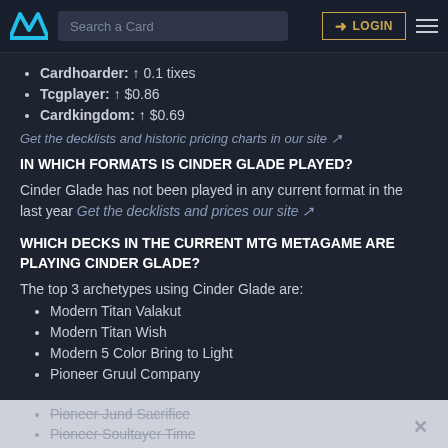Search a Card | LOGIN
Cardhoarder: ↑ 0.1 tixes
Tcgplayer: ↑ $0.86
Cardkingdom: ↑ $0.69
Get the decklists and historic pricing charts in our site ↗
IN WHICH FORMATS IS CINDER GLADE PLAYED?
Cinder Glade has not been played in any current format in the last year Get the decklists and prices our site ↗
WHICH DECKS IN THE CURRENT MTG METAGAME ARE PLAYING CINDER GLADE?
The top 3 archetypes using Cinder Glade are:
Modern Titan Valakut
Modern Titan Wish
Modern 5 Color Bring to Light
Pioneer Gruul Company
Pioneer Jund Sacrifice
Pioneer Soultayer Time